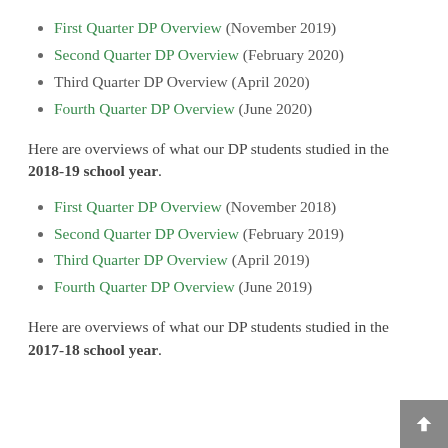First Quarter DP Overview (November 2019)
Second Quarter DP Overview (February 2020)
Third Quarter DP Overview (April 2020)
Fourth Quarter DP Overview (June 2020)
Here are overviews of what our DP students studied in the 2018-19 school year.
First Quarter DP Overview (November 2018)
Second Quarter DP Overview (February 2019)
Third Quarter DP Overview (April 2019)
Fourth Quarter DP Overview (June 2019)
Here are overviews of what our DP students studied in the 2017-18 school year.